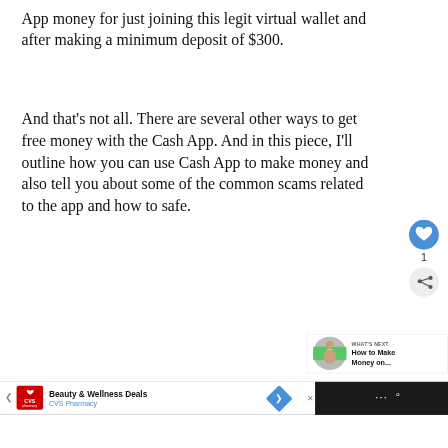App money for just joining this legit virtual wallet and after making a minimum deposit of $300.
And that's not all. There are several other ways to get free money with the Cash App. And in this piece, I'll outline how you can use Cash App to make money and also tell you about some of the common scams related to the app and how to safe.
[Figure (other): UI overlay with heart/like button showing count of 1, and a share button below it]
[Figure (other): What's Next panel showing thumbnail image with text 'WHAT'S NEXT → How to Make Money on...']
[Figure (other): Advertisement bar at bottom: CVS Pharmacy - Beauty & Wellness Deals, with navigation arrows and dark right panel with dots icon]